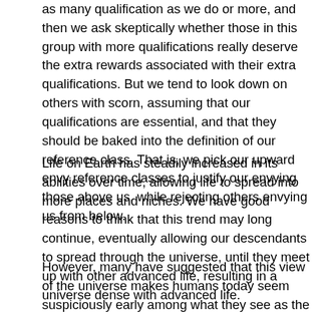as many qualification as we do or more, and then we ask skeptically whether those in this group with more qualifications really deserve the extra rewards associated with their extra qualifications. But we tend to look down on others with scorn, assuming that our qualifications are essential, and that they should be baked into the definition of our reference class. That is, we pick our upward envy reference classes to justify our envying those above us, while rejecting others envying us from below.
Life on Earth has steadily increased in its abilities over time, allowing life to spread into more places and niches. We have good reasons to think that this trend may long continue, eventually allowing our descendants to spread through the universe, until they meet up with other advanced life, resulting in a universe dense with advanced life.
However, many have suggested that this view of the universe makes humans today seem suspiciously early among what they see as the relevant comparison group. And thus they suggest we need a Bayesian update toward this view of the universe being less likely. But what exactly is the comparison group? For example, if you said "We'd be very early among creatures with access to quantum computers?", I think we'd all agree that is not so puzzling, as the first quantum computers only appeare